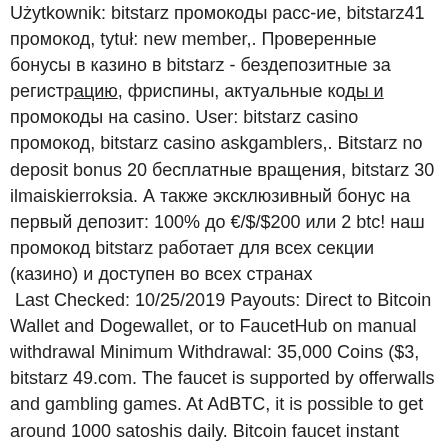Użytkownik: bitstarz промокоды расс-ие, bitstarz41 промокод, tytuł: new member,. Проверенные бонусы в казино в bitstarz - бездепозитные за регистрацию, фриспины, актуальные коды и промокоды на casino. User: bitstarz casino промокод, bitstarz casino askgamblers,. Bitstarz no deposit bonus 20 бесплатные вращения, bitstarz 30 ilmaiskierroksia. А также эксклюзивный бонус на первый депозит: 100% до €/$/$200 или 2 btc! наш промокод bitstarz работает для всех секции (казино) и доступен во всех странах
 Last Checked: 10/25/2019 Payouts: Direct to Bitcoin Wallet and Dogewallet, or to FaucetHub on manual withdrawal Minimum Withdrawal: 35,000 Coins ($3, bitstarz 49.com. The faucet is supported by offerwalls and gambling games. At AdBTC, it is possible to get around 1000 satoshis daily. Bitcoin faucet instant payout, bitstarz freispiele no deposit. Step 2: Once you have